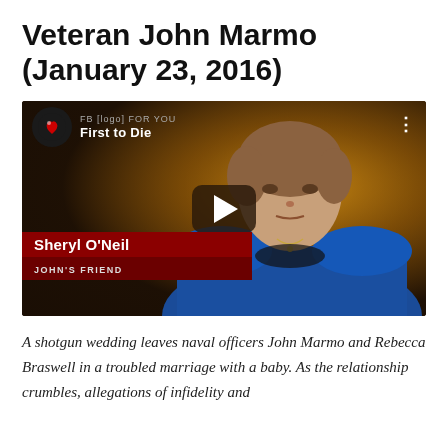Veteran John Marmo (January 23, 2016)
[Figure (screenshot): YouTube video thumbnail showing a woman named Sheryl O'Neil (John's Friend) being interviewed, from a documentary called 'First to Die'. The thumbnail shows a middle-aged woman with short brown hair wearing a blue blazer, with a dark warm-toned background. A play button is overlaid in the center. The lower-third bar reads 'Sheryl O'Neil' with subtitle 'JOHN'S FRIEND'.]
A shotgun wedding leaves naval officers John Marmo and Rebecca Braswell in a troubled marriage with a baby. As the relationship crumbles, allegations of infidelity and